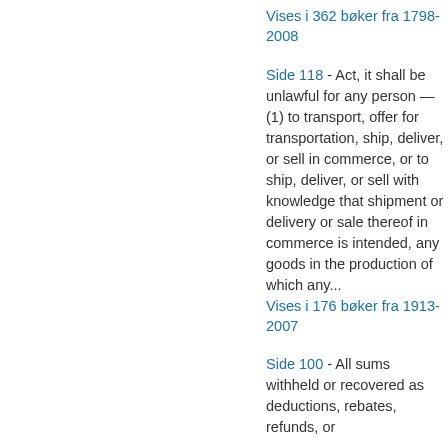Vises i 362 bøker fra 1798-2008
Side 118 - Act, it shall be unlawful for any person — (1) to transport, offer for transportation, ship, deliver, or sell in commerce, or to ship, deliver, or sell with knowledge that shipment or delivery or sale thereof in commerce is intended, any goods in the production of which any...
Vises i 176 bøker fra 1913-2007
Side 100 - All sums withheld or recovered as deductions, rebates, refunds, or